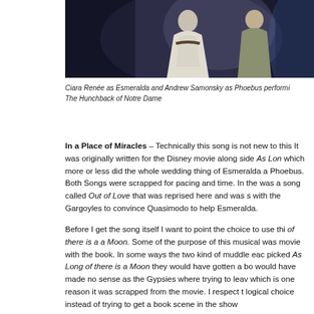[Figure (photo): Performance photo showing two actors in costume, one in a white/grey dress, against a dark stage background. Ciara Renée as Esmeralda and Andrew Samonsky as Phoebus in The Hunchback of Notre Dame.]
Ciara Renée as Esmeralda and Andrew Samonsky as Phoebus performi... The Hunchback of Notre Dame
In a Place of Miracles – Technically this song is not new to this... It was originally written for the Disney movie along side As Long... which more or less did the whole wedding thing of Esmeralda a... Phoebus. Both Songs were scrapped for pacing and time. In the... was a song called Out of Love that was reprised here and was s... with the Gargoyles to convince Quasimodo to help Esmeralda.
Before I get the song itself I want to point the choice to use thi... of there is a a Moon. Some of the purpose of this musical was... movie with the book. In some ways the two kind of muddle eac... picked As Long of there is a Moon they would have gotten a bo... would have made no sense as the Gypsies where trying to leav... which is one reason it was scrapped from the movie. I respect t... logical choice instead of trying to get a book scene in the show...